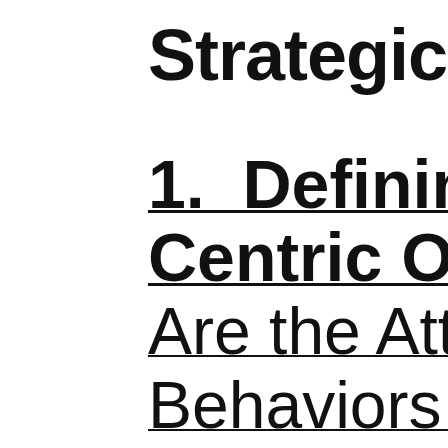Strategic Thinking
1. Defining the Customer-Centric Organization
Are the Attributes, Behaviors that Define Customer-Centric